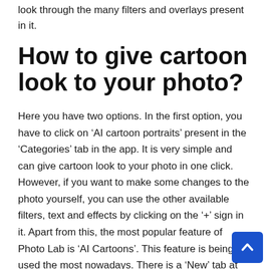look through the many filters and overlays present in it.
How to give cartoon look to your photo?
Here you have two options. In the first option, you have to click on ‘AI cartoon portraits’ present in the ‘Categories’ tab in the app. It is very simple and can give cartoon look to your photo in one click. However, if you want to make some changes to the photo yourself, you can use the other available filters, text and effects by clicking on the ‘+’ sign in it. Apart from this, the most popular feature of Photo Lab is ‘AI Cartoons’. This feature is being used the most nowadays. There is a ‘New’ tab at the